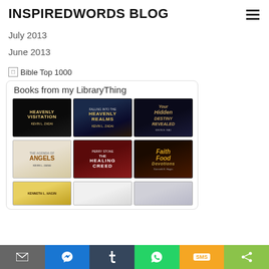INSPIREDWORDS BLOG
July 2013
June 2013
[Figure (other): Broken image placeholder for Bible Top 1000 badge]
Books from my LibraryThing
[Figure (other): Grid of 9 book covers from LibraryThing: Heavenly Visitation, Heavenly Realms, Your Hidden Destiny Revealed, The Agenda of Angels, The Healing Creed, Faith Food Devotions, and 3 partially visible books in bottom row]
[Figure (other): Share bar with icons: email (grey), messenger (blue), tumblr (dark), whatsapp (green), SMS (orange), share (light green)]